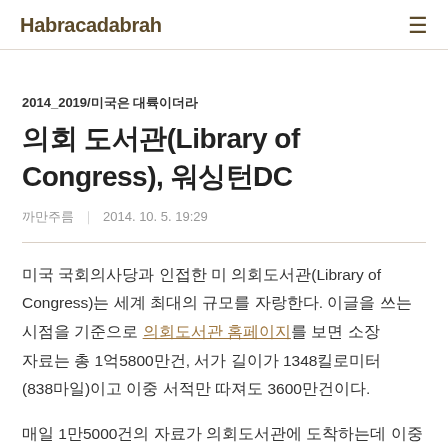Habracadabrah
2014_2019/미국은 대륙이더라
의회 도서관(Library of Congress), 워싱턴DC
까만주름  |  2014. 10. 5. 19:29
미국 국회의사당과 인접한 미 의회도서관(Library of Congress)는 세계 최대의 규모를 자랑한다. 이글을 쓰는 시점을 기준으로 의회도서관 홈페이지를 보면 소장 자료는 총 1억5800만건, 서가 길이가 1348킬로미터(838마일)이고 이중 서적만 따져도 3600만건이다.
매일 1만5000건의 자료가 의회도서관에 도착하는데 이중 하루 평균 1만200